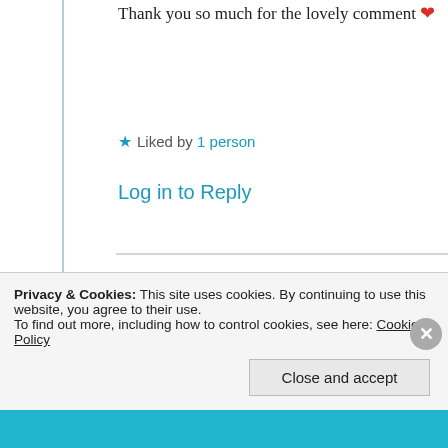Thank you so much for the lovely comment ❤
★ Liked by 1 person
Log in to Reply
[Figure (photo): Circular avatar photo of user skylinerise showing a winter/sky scene]
skylinerise
26th Jun 2021 at 4:55 am
Privacy & Cookies: This site uses cookies. By continuing to use this website, you agree to their use. To find out more, including how to control cookies, see here: Cookie Policy
Close and accept